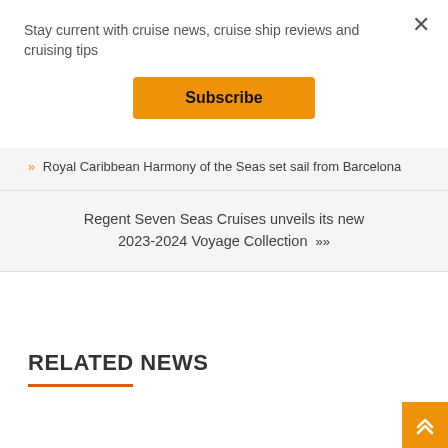Stay current with cruise news, cruise ship reviews and cruising tips
Subscribe
» Royal Caribbean Harmony of the Seas set sail from Barcelona
Regent Seven Seas Cruises unveils its new 2023-2024 Voyage Collection »
RELATED NEWS